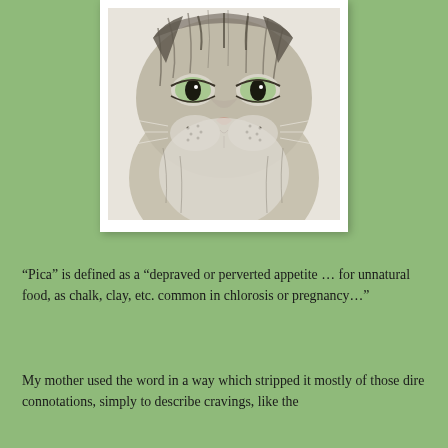[Figure (illustration): Black and white pencil or print illustration of a close-up cat face, looking directly at the viewer with large eyes, on a white background with a white border/frame.]
“Pica” is defined as a “depraved or perverted appetite … for unnatural food, as chalk, clay, etc. common in chlorosis or pregnancy…”
My mother used the word in a way which stripped it mostly of those dire connotations, simply to describe cravings, like the